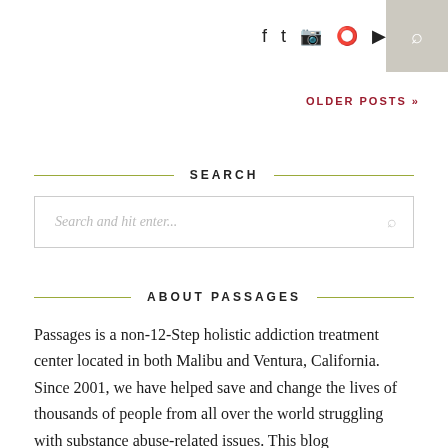Social icons: f, Twitter, Instagram, Pinterest, YouTube | Search icon
OLDER POSTS »
SEARCH
Search and hit enter...
ABOUT PASSAGES
Passages is a non-12-Step holistic addiction treatment center located in both Malibu and Ventura, California. Since 2001, we have helped save and change the lives of thousands of people from all over the world struggling with substance abuse-related issues. This blog